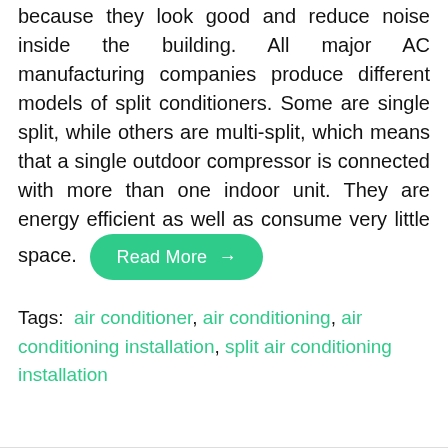because they look good and reduce noise inside the building. All major AC manufacturing companies produce different models of split conditioners. Some are single split, while others are multi-split, which means that a single outdoor compressor is connected with more than one indoor unit. They are energy efficient as well as consume very little space. Read More →
Tags: air conditioner, air conditioning, air conditioning installation, split air conditioning installation